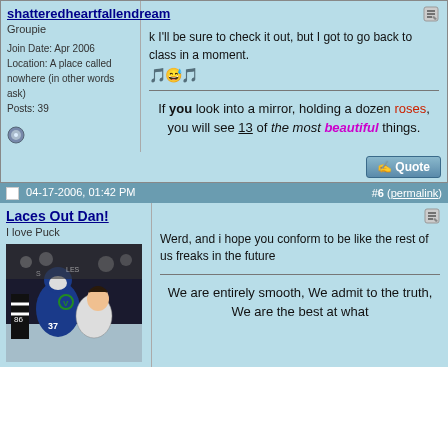shatteredheartfallendream
Groupie
Join Date: Apr 2006
Location: A place called nowhere (in other words ask)
Posts: 39
k I'll be sure to check it out, but I got to go back to class in a moment.
If you look into a mirror, holding a dozen roses, you will see 13 of the most beautiful things.
04-17-2006, 01:42 PM  #6 (permalink)
Laces Out Dan!
I love Puck
[Figure (photo): Hockey fight photo showing two players in Vancouver Canucks jerseys during a fight on the ice, with a referee nearby. Player numbers 86 and 37 visible.]
Werd, and i hope you conform to be like the rest of us freaks in the future
We are entirely smooth, We admit to the truth, We are the best at what